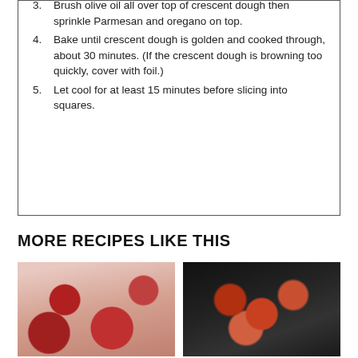3. Brush olive oil all over top of crescent dough then sprinkle Parmesan and oregano on top.
4. Bake until crescent dough is golden and cooked through, about 30 minutes. (If the crescent dough is browning too quickly, cover with foil.)
5. Let cool for at least 15 minutes before slicing into squares.
MORE RECIPES LIKE THIS
[Figure (photo): Food photo showing red/tomato-colored dish]
[Figure (photo): Food photo showing pizza with pepperoni in dark pan]